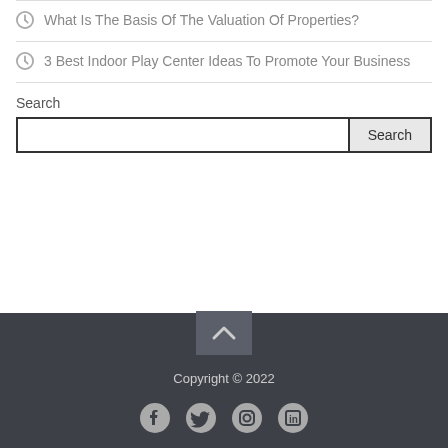What Is The Basis Of The Valuation Of Properties?
3 Best Indoor Play Center Ideas To Promote Your Business
Search
Copyright © 2022